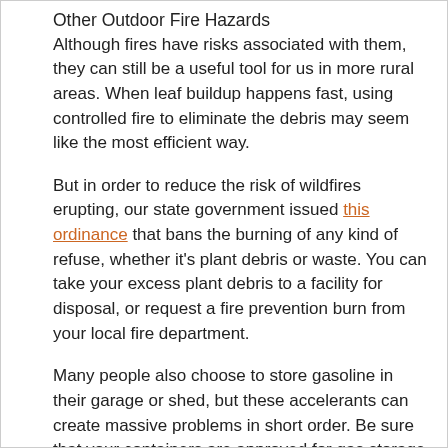Other Outdoor Fire Hazards
Although fires have risks associated with them, they can still be a useful tool for us in more rural areas. When leaf buildup happens fast, using controlled fire to eliminate the debris may seem like the most efficient way.
But in order to reduce the risk of wildfires erupting, our state government issued this ordinance that bans the burning of any kind of refuse, whether it's plant debris or waste. You can take your excess plant debris to a facility for disposal, or request a fire prevention burn from your local fire department.
Many people also choose to store gasoline in their garage or shed, but these accelerants can create massive problems in short order. Be sure that your containers are approved for gas storage and that no animals or children are able to come into contact with them.
When you want to have an outdoor fire, it's always best to check local weather alerts first. If the winds are high or there is a dry spell occurring, postpone the fire for next time and avoid unnecessary risks.
Before starting a fire, always ensure that you have eff…